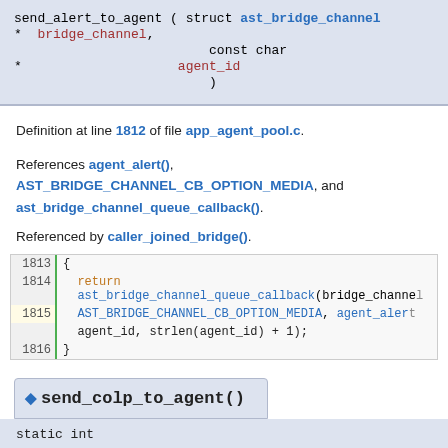send_alert_to_agent ( struct ast_bridge_channel * bridge_channel, const char * agent_id )
Definition at line 1812 of file app_agent_pool.c.
References agent_alert(), AST_BRIDGE_CHANNEL_CB_OPTION_MEDIA, and ast_bridge_channel_queue_callback().
Referenced by caller_joined_bridge().
[Figure (screenshot): Code block showing lines 1813-1816 of app_agent_pool.c with syntax highlighting]
send_colp_to_agent()
static int